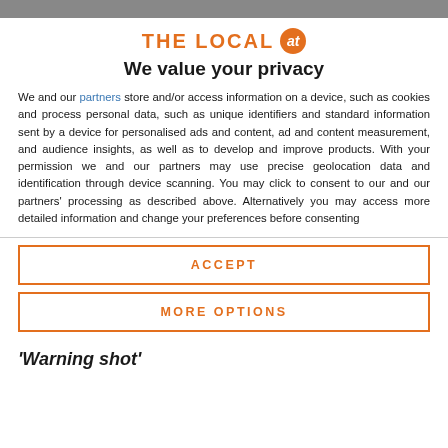THE LOCAL at
We value your privacy
We and our partners store and/or access information on a device, such as cookies and process personal data, such as unique identifiers and standard information sent by a device for personalised ads and content, ad and content measurement, and audience insights, as well as to develop and improve products. With your permission we and our partners may use precise geolocation data and identification through device scanning. You may click to consent to our and our partners' processing as described above. Alternatively you may access more detailed information and change your preferences before consenting
ACCEPT
MORE OPTIONS
'Warning shot'